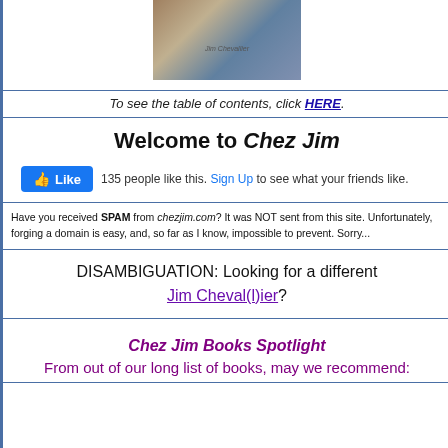[Figure (photo): Book cover image with 'Jim Chevallier' text overlay, showing a historical/artistic scene with brown and blue tones]
To see the table of contents, click HERE.
Welcome to Chez Jim
👍 Like  135 people like this. Sign Up to see what your friends like.
Have you received SPAM from chezjim.com? It was NOT sent from this site. Unfortunately, forging a domain is easy, and, so far as I know, impossible to prevent. Sorry...
DISAMBIGUATION: Looking for a different Jim Cheval(l)ier?
Chez Jim Books Spotlight
From out of our long list of books, may we recommend: